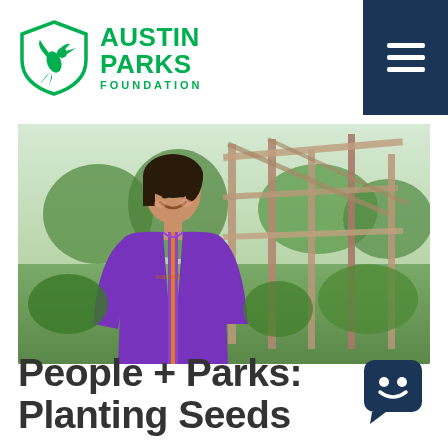[Figure (logo): Austin Parks Foundation logo: green hummingbird/bird in shield shape on left, green bold text 'AUSTIN PARKS' with 'FOUNDATION' below in smaller caps on right]
[Figure (other): Dark navy blue square with three white horizontal lines (hamburger menu icon) in top right corner]
[Figure (photo): A smiling woman in a purple zip-up jacket standing in a community garden with wooden trellis structures and green plants in the background]
People + Parks: Planting Seeds
[Figure (other): Dark navy blue rounded square chat bubble icon with a simple smiley face]